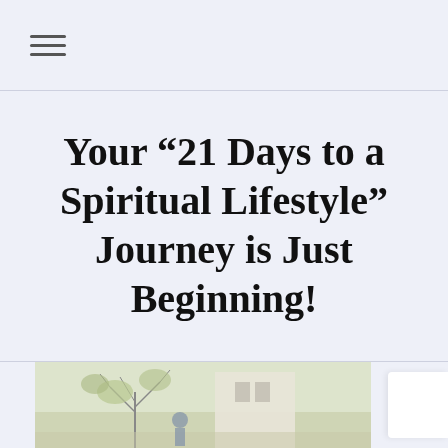☰
Your “21 Days to a Spiritual Lifestyle” Journey is Just Beginning!
[Figure (photo): A person standing outdoors near bare trees, with a building in the background, partially visible at the bottom of the page]